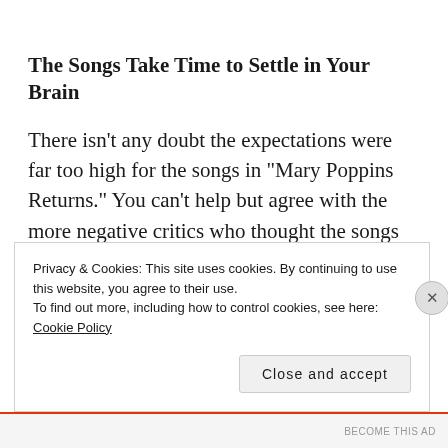The Songs Take Time to Settle in Your Brain
There isn’t any doubt the expectations were far too high for the songs in “Mary Poppins Returns.” You can’t help but agree with the more negative critics who thought the songs aren’t as memorable as the masterpieces created by the Sherman Brothers.
Privacy & Cookies: This site uses cookies. By continuing to use this website, you agree to their use.
To find out more, including how to control cookies, see here:
Cookie Policy
BECOME THIS AD